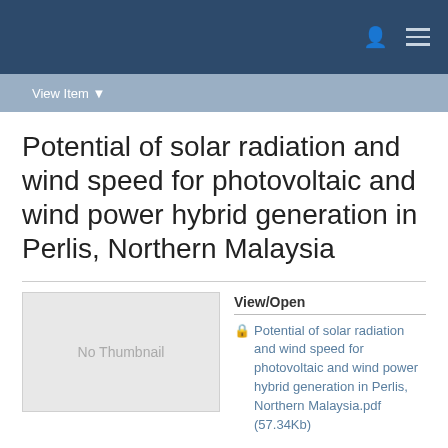View Item
Potential of solar radiation and wind speed for photovoltaic and wind power hybrid generation in Perlis, Northern Malaysia
[Figure (other): No Thumbnail placeholder box]
View/Open
🔒 Potential of solar radiation and wind speed for photovoltaic and wind power hybrid generation in Perlis, Northern Malaysia.pdf (57.34Kb)